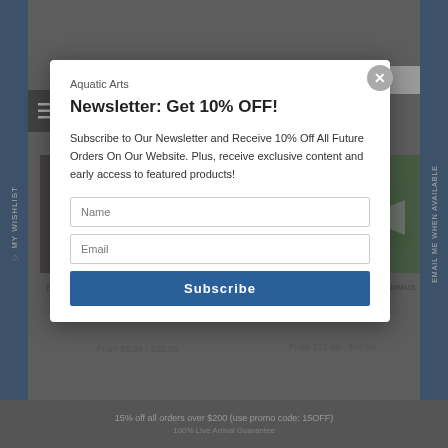MORE IN THIS COLLECTION
[Figure (logo): Aquatic Arts logo with fish plant icon and text AQUATIC ARTS]
[Figure (photo): Ember AKA Fire AKA Dwarf Red Tetra fish on dark background]
EMBER AKA FIRE AKA DWARF RED TETRA (HYPHESSOBRYCON AMANDAE), TANK-BRED
From $9.99 - $29.99
[Figure (photo): Rummy Nose Tetra fish with red nose on green aquarium background]
RUMMY NOSE TETRA (HEMIGRAMMUS BLEHERI) – TANK-BRED!
From $12.99 - $89.99
15% off all orders over $200 (use promo code: 15OFF)
100% Live Arrival Guarantee
Aquatic Arts Newsletter: Get 10% OFF!
Subscribe to Our Newsletter and Receive 10% Off All Future Orders On Our Website. Plus, receive exclusive content and early access to featured products!
Name
Email
Subscribe